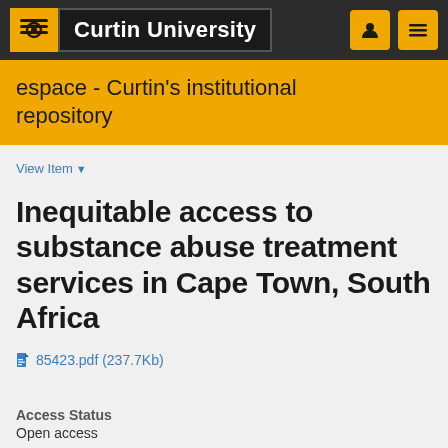[Figure (logo): Curtin University logo with golden stylized flower/sun icon and white text on dark background navigation bar with user and menu icons]
espace - Curtin's institutional repository
View Item
Inequitable access to substance abuse treatment services in Cape Town, South Africa
85423.pdf (237.7Kb)
Access Status
Open access